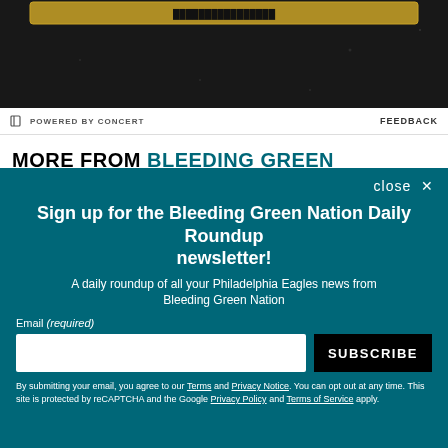[Figure (screenshot): Dark background image with a golden/yellow graphic element at top]
POWERED BY CONCERT   FEEDBACK
MORE FROM BLEEDING GREEN NATION
close ×
Sign up for the Bleeding Green Nation Daily Roundup newsletter!
A daily roundup of all your Philadelphia Eagles news from Bleeding Green Nation
Email (required)
SUBSCRIBE
By submitting your email, you agree to our Terms and Privacy Notice. You can opt out at any time. This site is protected by reCAPTCHA and the Google Privacy Policy and Terms of Service apply.